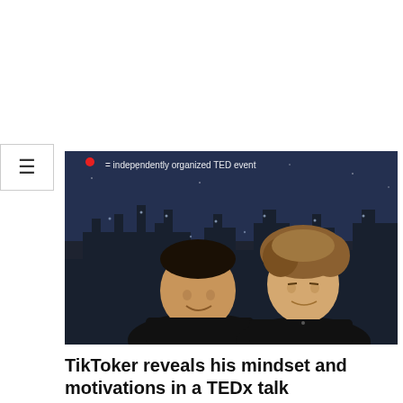[Figure (photo): Two men posing together smiling in front of a dark TEDx event backdrop that reads 'an independently organized TED event'. One man is older with dark hair wearing black, the other is younger with curly light brown hair wearing black.]
TikToker reveals his mindset and motivations in a TEDx talk